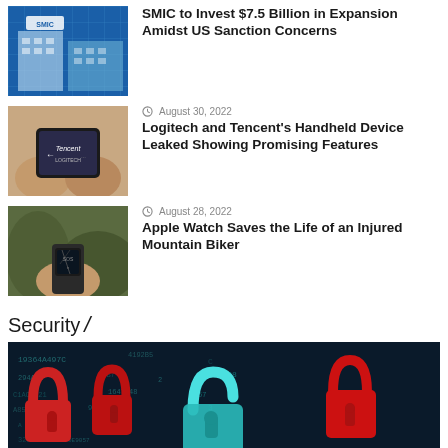[Figure (photo): SMIC building exterior with blue grid pattern]
SMIC to Invest $7.5 Billion in Expansion Amidst US Sanction Concerns
[Figure (photo): Hands holding a handheld gaming device showing Logitech and Tencent collaboration]
August 30, 2022
Logitech and Tencent's Handheld Device Leaked Showing Promising Features
[Figure (photo): Damaged Apple Watch on a wrist outdoors]
August 28, 2022
Apple Watch Saves the Life of an Injured Mountain Biker
Security /
[Figure (photo): Cybersecurity concept image with multiple padlocks on a digital background showing hex code]